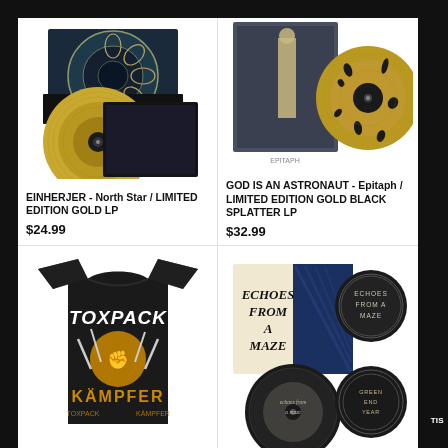[Figure (photo): Gold vinyl LP with album cover art for Einherjer - North Star]
EINHERJER - North Star / LIMITED EDITION GOLD LP
$24.99
[Figure (photo): Gold and black splatter vinyl LP with dark album cover for God Is An Astronaut - Epitaph]
GOD IS AN ASTRONAUT - Epitaph / LIMITED EDITION GOLD BLACK SPLATTER LP
$32.99
[Figure (photo): Black t-shirt with Toxpack Kampfer graphic, featuring a fist and logo]
[Figure (photo): CD digipak and merchandise for Echoes From A Maze, showing booklet and circular disc]